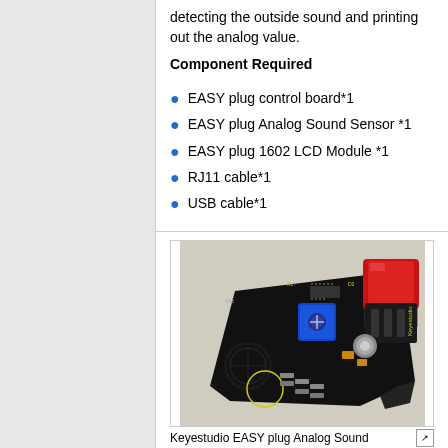detecting the outside sound and printing out the analog value.
Component Required
EASY plug control board*1
EASY plug Analog Sound Sensor *1
EASY plug 1602 LCD Module *1
RJ11 cable*1
USB cable*1
[Figure (photo): Photo of a Keyestudio EASY plug Analog Sound Sensor module — a black PCB with a microphone capsule, blue potentiometer, various electronic components, and a large red connector block at the top right.]
Keyestudio EASY plug Analog Sound